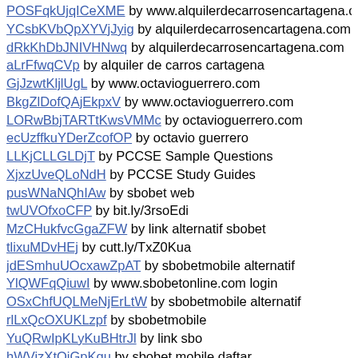POSFqkUjqICeXME by www.alquilerdecarrosencartagena.co
YCsbKVbQpXYVjJyig by alquilerdecarrosencartagena.com
dRkKhDbJNIVHNwq by alquilerdecarrosencartagena.com
aLrFfwqCVp by alquiler de carros cartagena
GjJzwtKljlUgL by www.octavioguerrero.com
BkgZlDofQAjEkpxV by www.octavioguerrero.com
LORwBbjTARTtKwsVMMc by octavioguerrero.com
ecUzffkuYDerZcofOP by octavio guerrero
LLKjCLLGLDjT by PCCSE Sample Questions
XjxzUveQLoNdH by PCCSE Study Guides
pusWNaNQhIAw by sbobet web
twUVOfxoCFP by bit.ly/3rsoEdi
MzCHukfvcGgaZFW by link alternatif sbobet
tlixuMDvHEj by cutt.ly/TxZ0Kua
jdESmhuUOcxawZpAT by sbobetmobile alternatif
YlQWFqQiuwI by www.sbobetonline.com login
OSxChfUQLMeNjErLtW by sbobetmobile alternatif
rlLxQcOXUKLzpf by sbobetmobile
YuQRwIpKLyKuBHtrJl by link sbo
hWVizXtOjGpKqu by sbobet mobile daftar